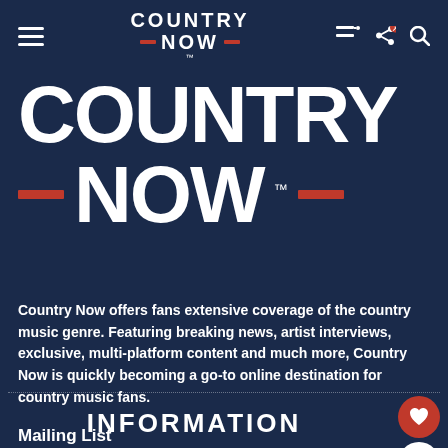COUNTRY NOW (header navigation bar with logo, hamburger menu, share and search icons)
[Figure (logo): Country Now large logo — white bold COUNTRY text on top, red dash marks on either side of NOW text below, with TM mark]
Country Now offers fans extensive coverage of the country music genre. Featuring breaking news, artist interviews, exclusive, multi-platform content and much more, Country Now is quickly becoming a go-to online destination for country music fans.
INFORMATION
Mailing List